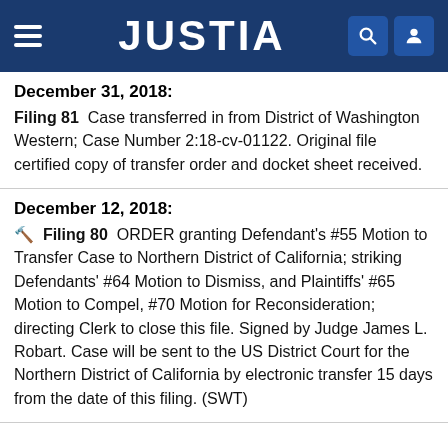JUSTIA
December 31, 2018:
Filing 81  Case transferred in from District of Washington Western; Case Number 2:18-cv-01122. Original file certified copy of transfer order and docket sheet received.
December 12, 2018:
🔨  Filing 80  ORDER granting Defendant's #55 Motion to Transfer Case to Northern District of California; striking Defendants' #64 Motion to Dismiss, and Plaintiffs' #65 Motion to Compel, #70 Motion for Reconsideration; directing Clerk to close this file. Signed by Judge James L. Robart. Case will be sent to the US District Court for the Northern District of California by electronic transfer 15 days from the date of this filing. (SWT)